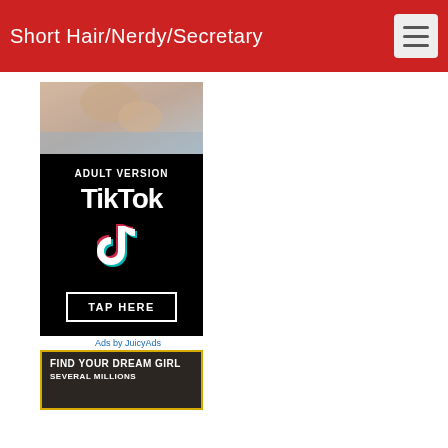Short Hair/Nerdy/Secretary
[Figure (photo): Adult content advertisement banner featuring an image at top, black section with 'ADULT VERSION TikTok' text and TikTok logo, and a 'TAP HERE' button]
Ads by JuicyAds
[Figure (photo): Advertisement banner with dark brown background and gold border reading 'FIND YOUR DREAM GIRL' with text 'SEVERAL MILLIONS' below]